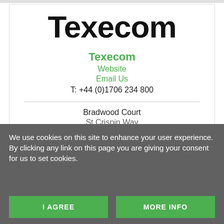[Figure (logo): Texecom company logo in large bold black text]
Texecom
Website
Email Us
T: +44 (0)1706 234 800
Bradwood Court
St Crispin Way
We use cookies on this site to enhance your user experience.
By clicking any link on this page you are giving your consent for us to set cookies.
I AGREE
MORE INFO